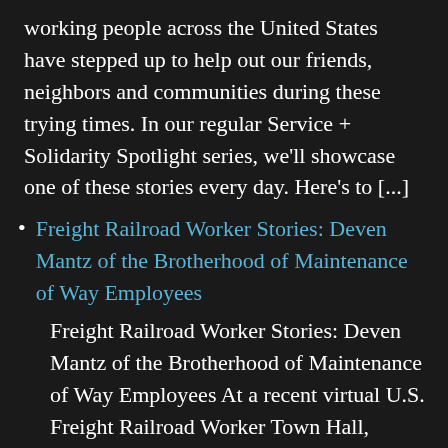working people across the United States have stepped up to help out our friends, neighbors and communities during these trying times. In our regular Service + Solidarity Spotlight series, we'll showcase one of these stories every day. Here's to [...]
Freight Railroad Worker Stories: Deven Mantz of the Brotherhood of Maintenance of Way Employees
Freight Railroad Worker Stories: Deven Mantz of the Brotherhood of Maintenance of Way Employees At a recent virtual U.S. Freight Railroad Worker Town Hall, Transportation Trades Department, AFL-CIO, President Greg Regan introduced a